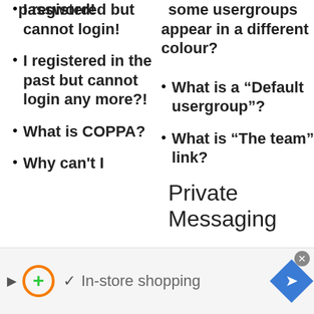I registered but cannot login!
some usergroups appear in a different colour?
I registered in the past but cannot login any more?!
What is a “Default usergroup”?
What is COPPA?
What is “The team” link?
Why can’t I
Private Messaging